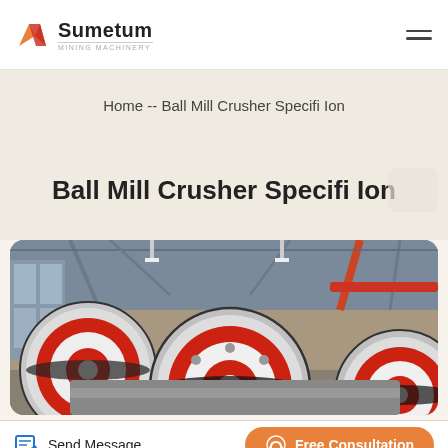Sumetum Mining Machinery
Home  -- Ball Mill Crusher Specifi Ion
Ball Mill Crusher Specifi Ion
[Figure (photo): Industrial ball mill crusher machinery with large red and white flywheels/pulleys inside a factory warehouse]
Send Message
Free Consultation